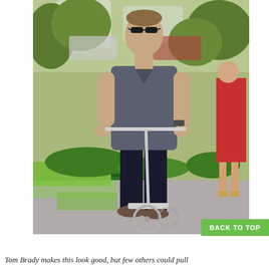[Figure (photo): A tall athletic man wearing sunglasses, a gray v-neck t-shirt, and black pants, riding a silver kick scooter on a sidewalk path. Green trees and bushes are visible in the background, along with a woman in a red dress on the right side. Parked cars are blurred in the background.]
Tom Brady makes this look good, but few others could pull